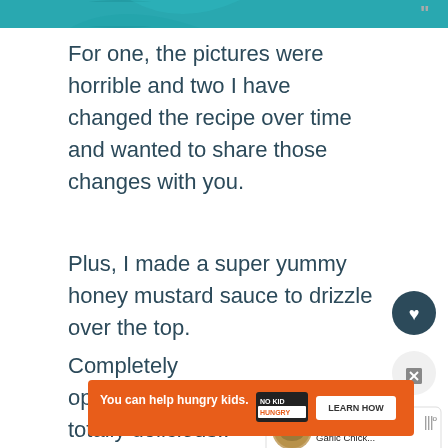[Figure (screenshot): Top teal/turquoise banner with partial food blog logo/illustration and quotation marks on the right]
For one, the pictures were horrible and two I have changed the recipe over time and wanted to share those changes with you.
Plus, I made a super yummy honey mustard sauce to drizzle over the top.
Completely optional, but totally delicious!!
[Figure (screenshot): Heart/favorite button (dark circle with heart icon) and share button, plus a 'What's Next' card showing Lemon and Garlic Chick... with a thumbnail]
[Figure (screenshot): Orange advertisement banner: 'You can help hungry kids.' with No Kid Hungry logo and 'LEARN HOW' button, with a close X button]